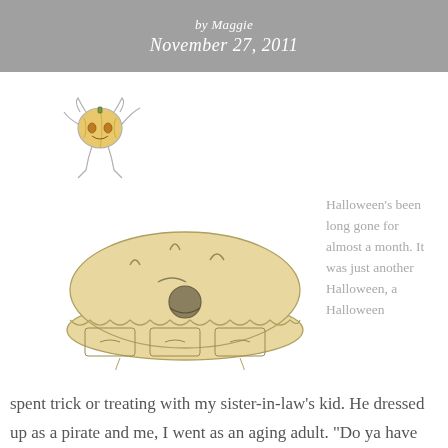by Maggie
November 27, 2011
[Figure (illustration): A whimsical hand-drawn illustration showing a small anthropomorphic pumpkin character with arms and legs raised, alongside a large friendly pie character resembling a house with face features (eyes, mouth) and drawer-like panels on its side.]
Halloween's been long gone for almost a month.  It was just another Halloween, a Halloween spent trick or treating with my sister-in-law's kid.  He dressed up as a pirate and me, I went as an aging adult.  "Do ya have